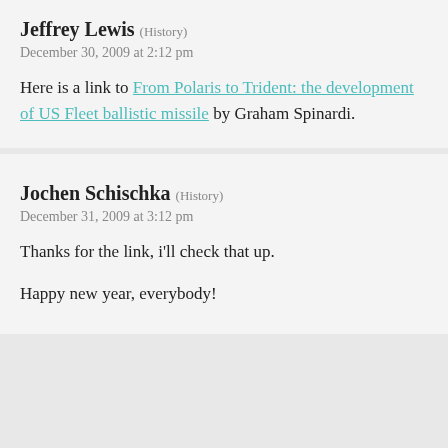Jeffrey Lewis (History)
December 30, 2009 at 2:12 pm
Here is a link to From Polaris to Trident: the development of US Fleet ballistic missile by Graham Spinardi.
Jochen Schischka (History)
December 31, 2009 at 3:12 pm
Thanks for the link, i'll check that up.

Happy new year, everybody!